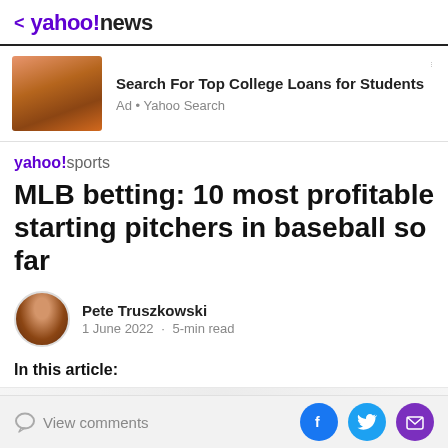< yahoo!news
[Figure (screenshot): Advertisement banner: photo of a woman with curly hair on a phone, with text 'Search For Top College Loans for Students' and 'Ad • Yahoo Search']
yahoo!sports
MLB betting: 10 most profitable starting pitchers in baseball so far
Pete Truszkowski
1 June 2022 · 5-min read
In this article:
View comments